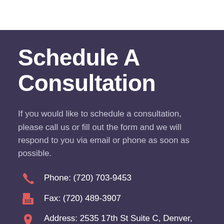Schedule A Consultation
If you would like to schedule a consultation, please call us or fill out the form and we will respond to you via email or phone as soon as possible.
Phone: (720) 703-9453
Fax: (720) 489-3907
Address: 2535 17th St Suite C, Denver, CO 80211